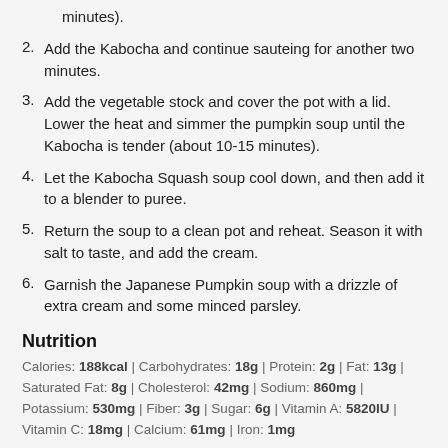minutes).
2. Add the Kabocha and continue sauteing for another two minutes.
3. Add the vegetable stock and cover the pot with a lid. Lower the heat and simmer the pumpkin soup until the Kabocha is tender (about 10-15 minutes).
4. Let the Kabocha Squash soup cool down, and then add it to a blender to puree.
5. Return the soup to a clean pot and reheat. Season it with salt to taste, and add the cream.
6. Garnish the Japanese Pumpkin soup with a drizzle of extra cream and some minced parsley.
Nutrition
Calories: 188kcal | Carbohydrates: 18g | Protein: 2g | Fat: 13g | Saturated Fat: 8g | Cholesterol: 42mg | Sodium: 860mg | Potassium: 530mg | Fiber: 3g | Sugar: 6g | Vitamin A: 5820IU | Vitamin C: 18mg | Calcium: 61mg | Iron: 1mg